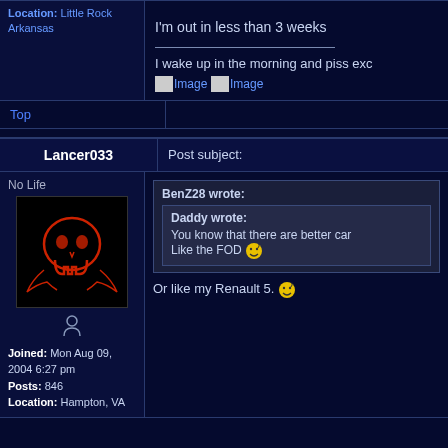Location: Little Rock Arkansas
I'm out in less than 3 weeks
I wake up in the morning and piss exc...
Top
Lancer033
Post subject:
No Life
Joined: Mon Aug 09, 2004 6:27 pm
Posts: 846
Location: Hampton, VA
BenZ28 wrote:
Daddy wrote:
You know that there are better car...
Like the FOD
Or like my Renault 5.